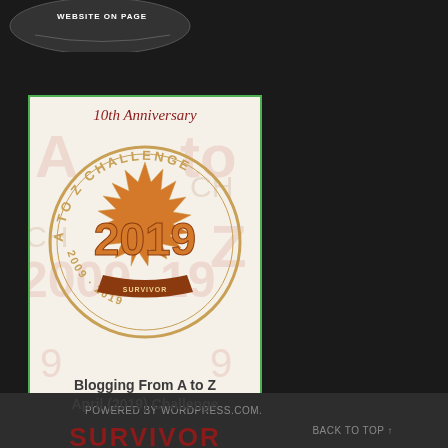[Figure (logo): Partial circular badge/seal at top left, white text on dark background, partially cut off]
[Figure (illustration): A to Z Challenge 2019 10th Anniversary Survivor badge. Decorative card with circular stamp design showing '2019' and '2009-2019'. Text reads: Blogging From A to Z April (2019) Challenge SURVIVOR. Website: a-to-zchallenge.com. Green border around card.]
POWERED BY WORDPRESS.COM.
BACK TO TOP ↑